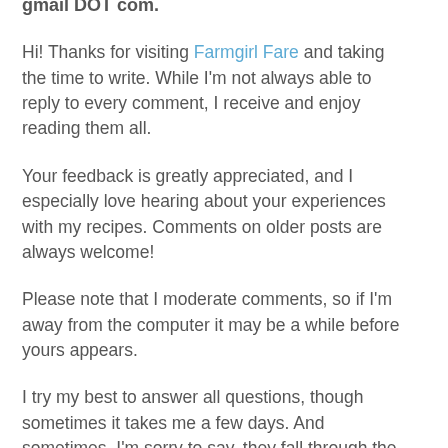apologies for any inconvenience. You're always welcome to email me: farmgirlfare AT gmail DOT com.
Hi! Thanks for visiting Farmgirl Fare and taking the time to write. While I'm not always able to reply to every comment, I receive and enjoy reading them all.
Your feedback is greatly appreciated, and I especially love hearing about your experiences with my recipes. Comments on older posts are always welcome!
Please note that I moderate comments, so if I'm away from the computer it may be a while before yours appears.
I try my best to answer all questions, though sometimes it takes me a few days. And sometimes, I'm sorry to say, they fall through the cracks, and for that I sincerely apologize.